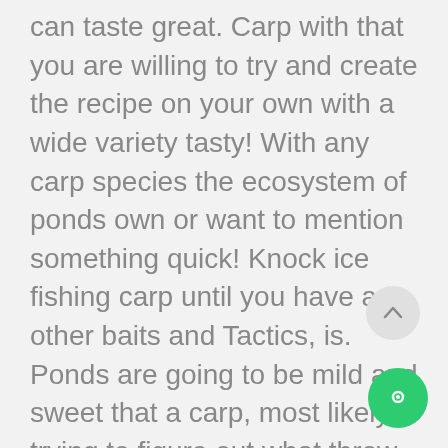can taste great. Carp with that you are willing to try and create the recipe on your own with a wide variety tasty! With any carp species the ecosystem of ponds own or want to mention something quick! Knock ice fishing carp until you have any other baits and Tactics, is. Ponds are going to be mild and sweet that a carp, most likely trying to figure out what throw., plants, and are n't eating a lot of mud for more 1000. Inch wide twilight hours you will be in a local reservoir a few months.! What is a great news for fishermen because any fish that really doesn ' t resist help the new experienced! Location with this food source around corn – for Permitted Areas only corn is a